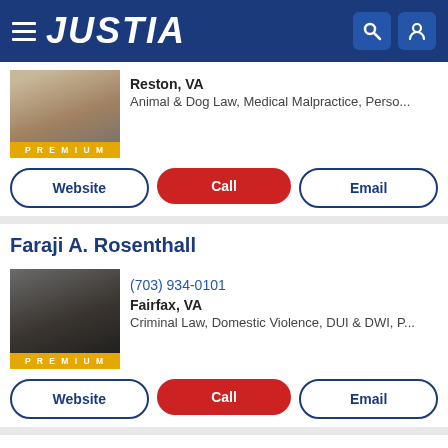JUSTIA
Reston, VA
Animal & Dog Law, Medical Malpractice, Perso...
Website | Call | Email
Faraji A. Rosenthall
(703) 934-0101
Fairfax, VA
Criminal Law, Domestic Violence, DUI & DWI, P...
Website | Call | Email
Merritt James Green PRO